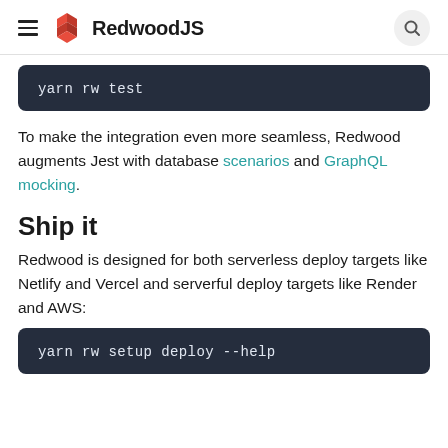RedwoodJS
yarn rw test
To make the integration even more seamless, Redwood augments Jest with database scenarios and GraphQL mocking.
Ship it
Redwood is designed for both serverless deploy targets like Netlify and Vercel and serverful deploy targets like Render and AWS:
yarn rw setup deploy --help